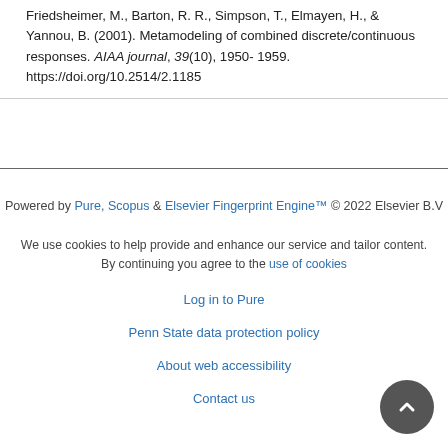Friedsheimer, M., Barton, R. R., Simpson, T., Elmayen, H., & Yannou, B. (2001). Metamodeling of combined discrete/continuous responses. AIAA journal, 39(10), 1950-1959. https://doi.org/10.2514/2.1185
Powered by Pure, Scopus & Elsevier Fingerprint Engine™ © 2022 Elsevier B.V
We use cookies to help provide and enhance our service and tailor content. By continuing you agree to the use of cookies
Log in to Pure
Penn State data protection policy
About web accessibility
Contact us